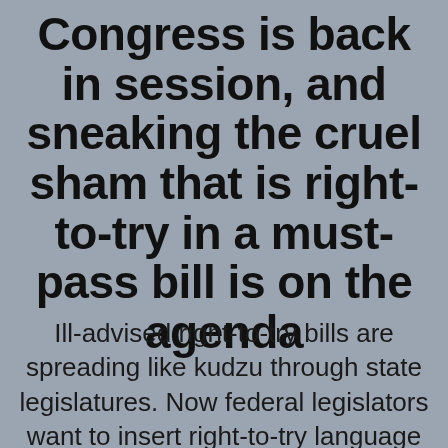Congress is back in session, and sneaking the cruel sham that is right-to-try in a must-pass bill is on the agenda
Ill-advised right-to-try bills are spreading like kudzu through state legislatures. Now federal legislators want to insert right-to-try language into the bill that funds FDA drug approval. Given the support of powerful Republicans for right-to-try, is it too late to stop this